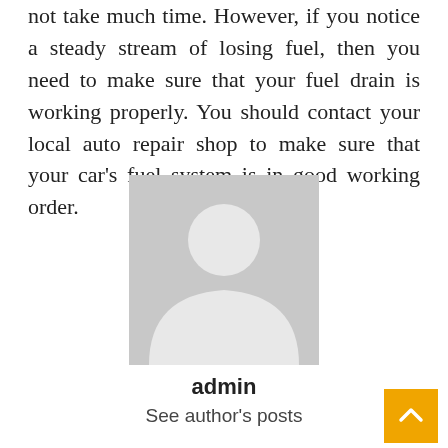not take much time. However, if you notice a steady stream of losing fuel, then you need to make sure that your fuel drain is working properly. You should contact your local auto repair shop to make sure that your car's fuel system is in good working order.
[Figure (illustration): Grey placeholder avatar image showing a generic person silhouette (circle head, rounded torso) on a grey background]
admin
See author's posts